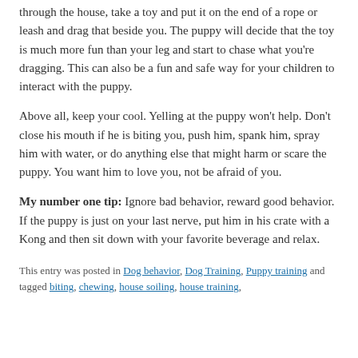through the house, take a toy and put it on the end of a rope or leash and drag that beside you. The puppy will decide that the toy is much more fun than your leg and start to chase what you're dragging. This can also be a fun and safe way for your children to interact with the puppy.
Above all, keep your cool. Yelling at the puppy won't help. Don't close his mouth if he is biting you, push him, spank him, spray him with water, or do anything else that might harm or scare the puppy. You want him to love you, not be afraid of you.
My number one tip: Ignore bad behavior, reward good behavior. If the puppy is just on your last nerve, put him in his crate with a Kong and then sit down with your favorite beverage and relax.
This entry was posted in Dog behavior, Dog Training, Puppy training and tagged biting, chewing, house soiling, house training,